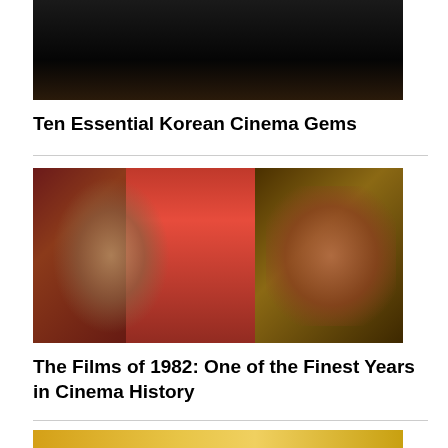[Figure (photo): Dark film still, partially visible at top of page]
Ten Essential Korean Cinema Gems
[Figure (photo): Collage of three 1982 movie images: Conan the Barbarian (left), woman in red bikini (center), and Blade Runner/Harrison Ford (right)]
The Films of 1982: One of the Finest Years in Cinema History
[Figure (photo): Partial view of another movie image at the bottom, yellow/golden tones]